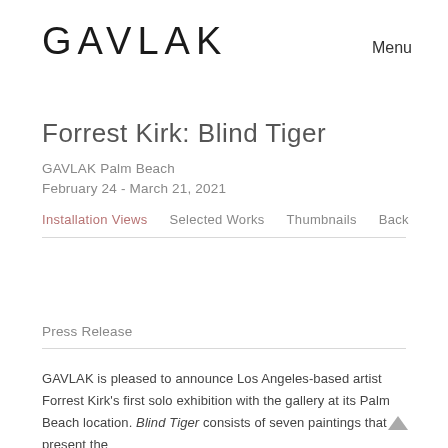GAVLAK    Menu
Forrest Kirk: Blind Tiger
GAVLAK Palm Beach
February 24 - March 21, 2021
Installation Views   Selected Works   Thumbnails   Back
Press Release
GAVLAK is pleased to announce Los Angeles-based artist Forrest Kirk's first solo exhibition with the gallery at its Palm Beach location. Blind Tiger consists of seven paintings that present the